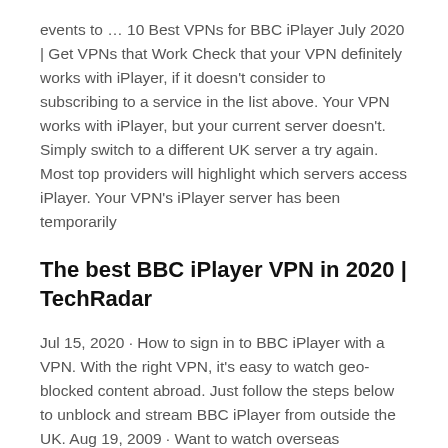events to … 10 Best VPNs for BBC iPlayer July 2020 | Get VPNs that Work Check that your VPN definitely works with iPlayer, if it doesn't consider to subscribing to a service in the list above. Your VPN works with iPlayer, but your current server doesn't. Simply switch to a different UK server a try again. Most top providers will highlight which servers access iPlayer. Your VPN's iPlayer server has been temporarily
The best BBC iPlayer VPN in 2020 | TechRadar
Jul 15, 2020 · How to sign in to BBC iPlayer with a VPN. With the right VPN, it's easy to watch geo-blocked content abroad. Just follow the steps below to unblock and stream BBC iPlayer from outside the UK. Aug 19, 2009 · Want to watch overseas streaming sites like Hulu or the BBC iPlayer in Australia, or catch up with the ABC's iView when you're on an overseas trip? The unfortunate truth is occasionally it's May 08, 2020 · The point is, if you have a favorite UK TV show, you are